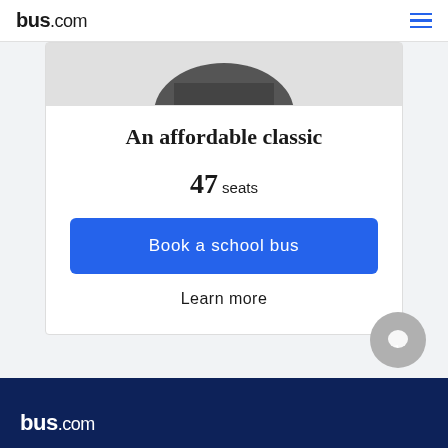bus.com
[Figure (photo): Partial top view of a school bus (cropped, showing the roof/top portion of bus in grayscale)]
An affordable classic
47 seats
Book a school bus
Learn more
bus.com